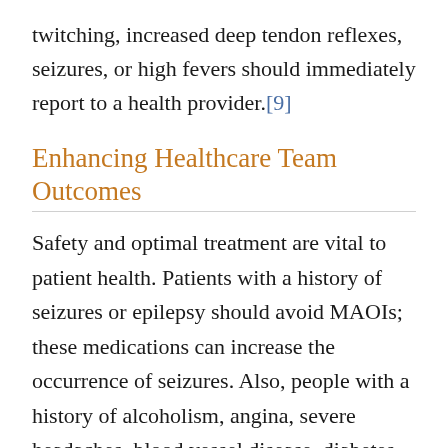twitching, increased deep tendon reflexes, seizures, or high fevers should immediately report to a health provider.[9]
Enhancing Healthcare Team Outcomes
Safety and optimal treatment are vital to patient health. Patients with a history of seizures or epilepsy should avoid MAOIs; these medications can increase the occurrence of seizures. Also, people with a history of alcoholism, angina, severe headaches, blood vessel disease, diabetes, kidney or liver disease, history of a recent heart attack or stroke, overactive thyroid, and pheochromocytoma should not receive MAOI therapy;